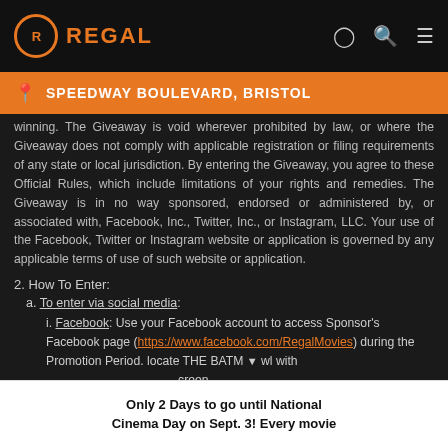REGAL
SPEEDWAY BOULEVARD, BRISTOL
winning. The Giveaway is void wherever prohibited by law, or where the Giveaway does not comply with applicable registration or filing requirements of any state or local jurisdiction. By entering the Giveaway, you agree to these Official Rules, which include limitations of your rights and remedies. The Giveaway is in no way sponsored, endorsed or administered by, or associated with, Facebook, Inc., Twitter, Inc., or Instagram, LLC. Your use of the Facebook, Twitter or Instagram website or application is governed by any applicable terms of use of such website or application.
2. How To Enter:
a. To enter via social media:
i. Facebook: Use your Facebook account to access Sponsor's Facebook page (https://www.facebook.com/RegalMovies) during the Promotion Period. locate THE BATM... wl with screen of the
Only 2 Days to go until National Cinema Day on Sept. 3! Every movie...